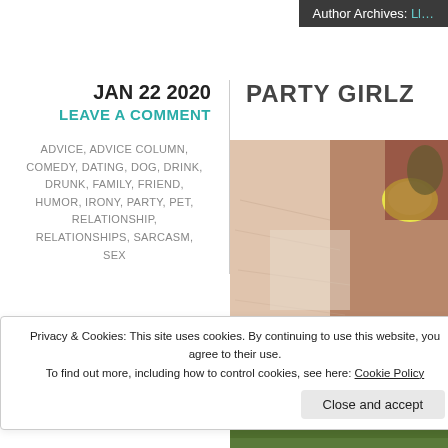Author Archives: Ll…
JAN 22 2020
LEAVE A COMMENT
ADVICE, ADVICE COLUMN, COMEDY, DATING, DOG, DRINK, DRUNK, FAMILY, FRIEND, HUMOR, IRONY, PARTY, PET, RELATIONSHIP, RELATIONSHIPS, SARCASM, SEX
PARTY GIRLZ
[Figure (photo): Close-up photo of a finger with yellow nail polish]
[Figure (photo): Partial photo at bottom right]
Privacy & Cookies: This site uses cookies. By continuing to use this website, you agree to their use. To find out more, including how to control cookies, see here: Cookie Policy
Close and accept